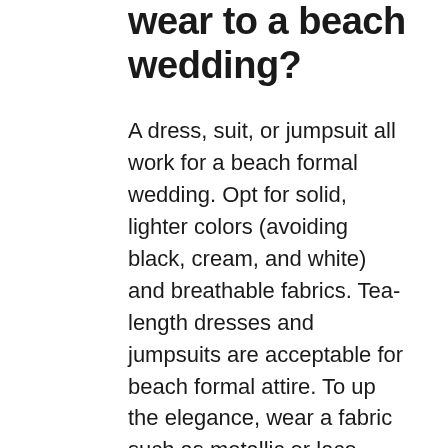wear to a beach wedding?
A dress, suit, or jumpsuit all work for a beach formal wedding. Opt for solid, lighter colors (avoiding black, cream, and white) and breathable fabrics. Tea-length dresses and jumpsuits are acceptable for beach formal attire. To up the elegance, wear a fabric such as metallic or lace.
What do you wear to a 2021 beach wedding?
The most typical attire for a beach wedding is dressy casual. Think of what you would consider “beach style.” This usually button up